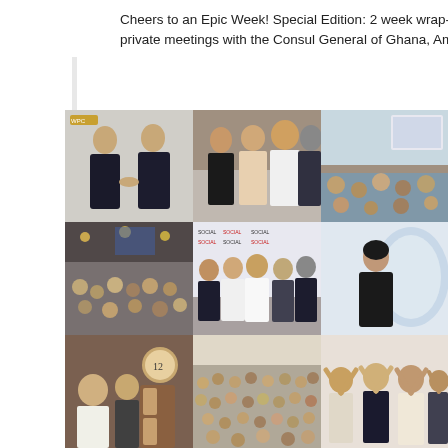Cheers to an Epic Week! Special Edition: 2 week wrap-up private meetings with the Consul General of Ghana, Amba
[Figure (photo): A 3x3 collage of event photos showing business meetings, networking events, group photos at a step-and-repeat banner, conference sessions, and social gatherings.]